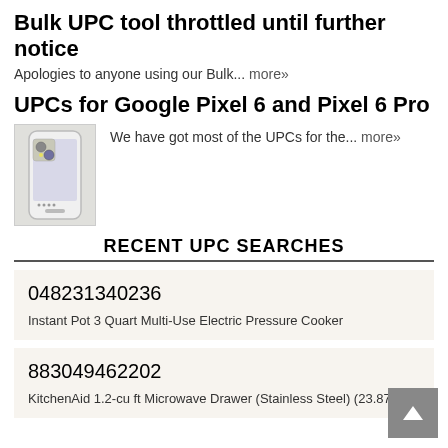Bulk UPC tool throttled until further notice
Apologies to anyone using our Bulk... more»
UPCs for Google Pixel 6 and Pixel 6 Pro
[Figure (photo): Photo of Google Pixel 6 smartphone]
We have got most of the UPCs for the... more»
RECENT UPC SEARCHES
048231340236
Instant Pot 3 Quart Multi-Use Electric Pressure Cooker
883049462202
KitchenAid 1.2-cu ft Microwave Drawer (Stainless Steel) (23.875-